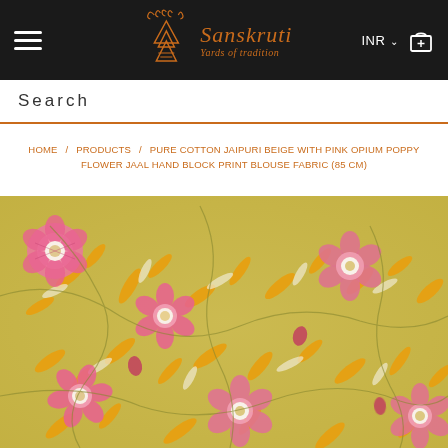Sanskruti — Yards of tradition
Search
HOME / PRODUCTS / PURE COTTON JAIPURI BEIGE WITH PINK OPIUM POPPY FLOWER JAAL HAND BLOCK PRINT BLOUSE FABRIC (85 CM)
[Figure (photo): Close-up photo of a beige/yellow Indian block-print fabric featuring pink opium poppy flowers and golden-yellow leaves in a jaal (all-over) pattern on a warm golden-beige background.]